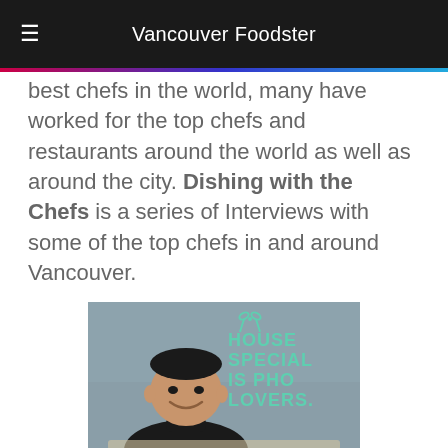Vancouver Foodster
best chefs in the world, many have worked for the top chefs and restaurants around the world as well as around the city. Dishing with the Chefs is a series of Interviews with some of the top chefs in and around Vancouver.
[Figure (photo): A smiling man in a black turtleneck seated in front of a gray wall with teal text reading 'HOUSE SPECIAL IS PHO LOVERS.' and a scissors/chopsticks icon above.]